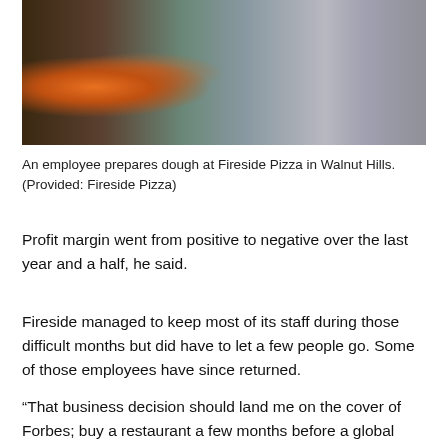[Figure (photo): An employee in a blue shirt and dark apron prepares dough at Fireside Pizza in Walnut Hills, with a wood-fired oven visible in the background along with kitchen equipment and supplies.]
An employee prepares dough at Fireside Pizza in Walnut Hills. (Provided: Fireside Pizza)
Profit margin went from positive to negative over the last year and a half, he said.
Fireside managed to keep most of its staff during those difficult months but did have to let a few people go. Some of those employees have since returned.
“That business decision should land me on the cover of Forbes; buy a restaurant a few months before a global pandemic, genius